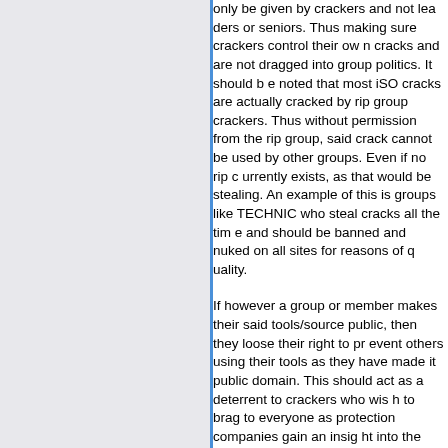only be given by crackers and not leaders or seniors. Thus making sure crackers control their own cracks and are not dragged into group politics. It should be noted that most iSO cracks are actually cracked by rip group crackers. Thus without permission from the rip group, said crack cannot be used by other groups. Even if no rip currently exists, as that would be stealing. An example of this is groups like TECHNIC who steal cracks all the time and should be banned and nuked on all sites for reasons of quality.
If however a group or member makes their said tools/source public, then they loose their right to prevent others using their tools as they have made it public domain. This should act as a deterrent to crackers who wish to brag to everyone as protection companies gain an insight into the scene when people make standard scene tools pu